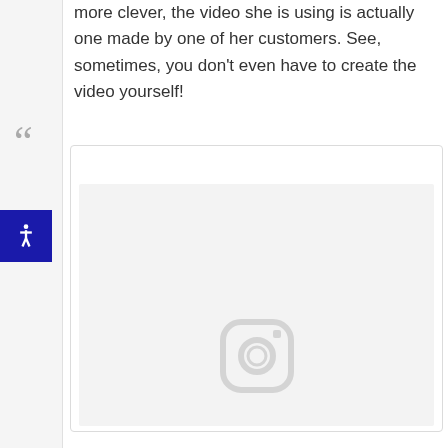more clever, the video she is using is actually one made by one of her customers. See, sometimes, you don't even have to create the video yourself!
[Figure (screenshot): An embedded Instagram post placeholder showing the Instagram camera icon in gray on a light gray background, inside a rounded-corner white card with a thin border.]